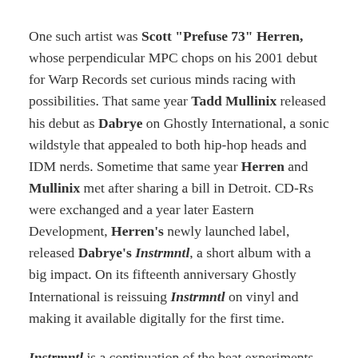One such artist was Scott "Prefuse 73" Herren, whose perpendicular MPC chops on his 2001 debut for Warp Records set curious minds racing with possibilities. That same year Tadd Mullinix released his debut as Dabrye on Ghostly International, a sonic wildstyle that appealed to both hip-hop heads and IDM nerds. Sometime that same year Herren and Mullinix met after sharing a bill in Detroit. CD-Rs were exchanged and a year later Eastern Development, Herren's newly launched label, released Dabrye's Instrmntl, a short album with a big impact. On its fifteenth anniversary Ghostly International is reissuing Instrmntl on vinyl and making it available digitally for the first time.
Instrmntl is a continuation of the beat experiments Dabrye began with One/Three and a bridge to the diverse textures that would define Two/Three four years later. About half of its nine tracks (ten if you lived in